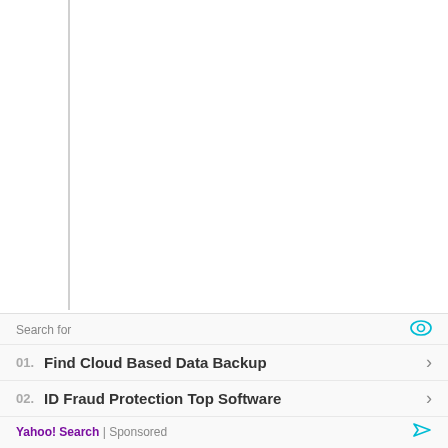Final Verdict
Getting something done is always mind soothing. We hope this Starspeak Astrology Oracle for PC installation guide to do the trick for you and make your day. Move on installing Starspeak Astrology
[Figure (other): Advertisement unit: Search for - 01. Find Cloud Based Data Backup, 02. ID Fraud Protection Top Software - Yahoo! Search Sponsored]